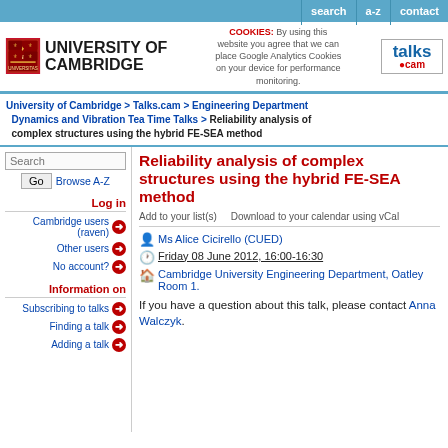search | a-z | contact
[Figure (logo): University of Cambridge logo with crest and wordmark, cookies message, and talks.cam logo]
University of Cambridge > Talks.cam > Engineering Department Dynamics and Vibration Tea Time Talks > Reliability analysis of complex structures using the hybrid FE-SEA method
Reliability analysis of complex structures using the hybrid FE-SEA method
Add to your list(s)    Download to your calendar using vCal
Ms Alice Cicirello (CUED)
Friday 08 June 2012, 16:00-16:30
Cambridge University Engineering Department, Oatley Room 1.
If you have a question about this talk, please contact Anna Walczyk.
Log in
Cambridge users (raven)
Other users
No account?
Information on
Subscribing to talks
Finding a talk
Adding a talk